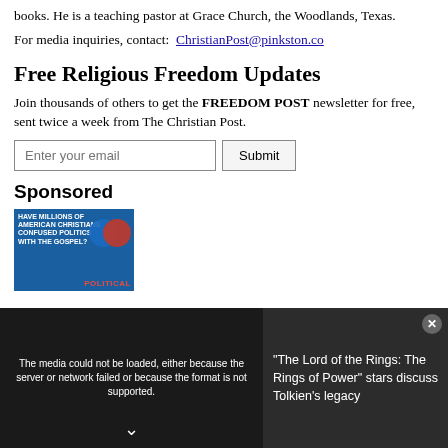books. He is a teaching pastor at Grace Church, the Woodlands, Texas.
For media inquiries, contact:  ChristianPost@pinkston.co
Free Religious Freedom Updates
Join thousands of others to get the FREEDOM POST newsletter for free, sent twice a week from The Christian Post.
[Enter your email] [Submit]
Sponsored
[Figure (illustration): Book cover advertisement — 'Have Millions of American Christians Confused Politics with the Gospel?' with political imagery (red and blue spheres), labeled 'POLITICAL']
[Figure (screenshot): Video overlay bar: media error message 'The media could not be loaded, either because the server or network failed or because the format is not supported.' Alongside text: '"The Lord of the Rings: The Rings of Power" stars discuss Tolkien's legacy']